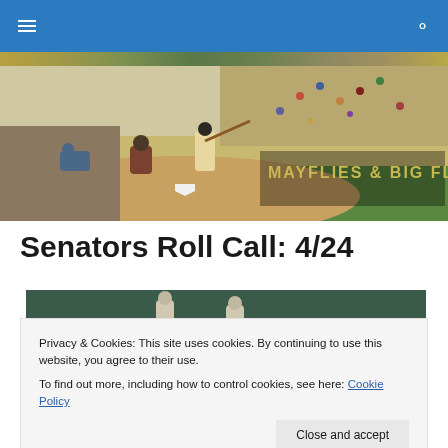Navigation bar with menu and search icons
[Figure (photo): Baseball game banner photo with batter, catcher, and umpire; crowd in background. Text overlay reads MAYFLIES & BIG FLIES]
Senators Roll Call: 4/24
[Figure (photo): Partial article image showing baseball players]
Privacy & Cookies: This site uses cookies. By continuing to use this website, you agree to their use.
To find out more, including how to control cookies, see here: Cookie Policy
Close and accept